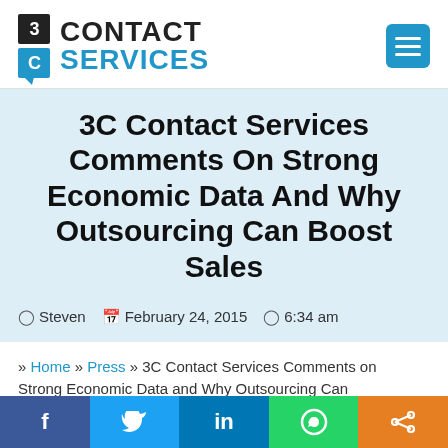3C Contact Services
3C Contact Services Comments On Strong Economic Data And Why Outsourcing Can Boost Sales
Steven  February 24, 2015  6:34 am
» Home » Press » 3C Contact Services Comments on Strong Economic Data and Why Outsourcing Can
f  Twitter  in  WhatsApp  Share